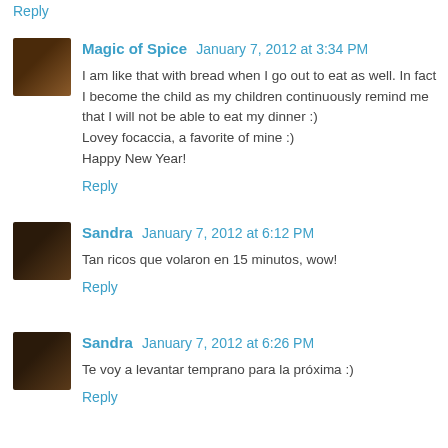Reply
Magic of Spice  January 7, 2012 at 3:34 PM
I am like that with bread when I go out to eat as well. In fact I become the child as my children continuously remind me that I will not be able to eat my dinner :)
Lovey focaccia, a favorite of mine :)
Happy New Year!
Reply
Sandra  January 7, 2012 at 6:12 PM
Tan ricos que volaron en 15 minutos, wow!
Reply
Sandra  January 7, 2012 at 6:26 PM
Te voy a levantar temprano para la próxima :)
Reply